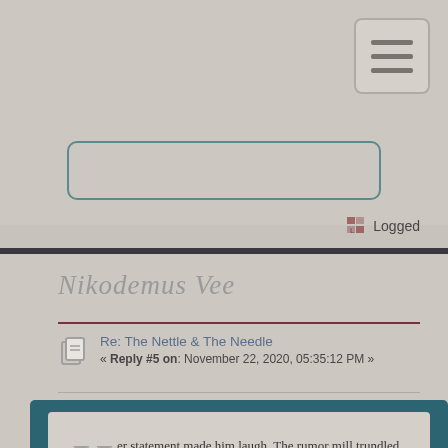[Figure (screenshot): Navigation hamburger menu button in top-right corner]
Logged
Nikodemus Vee
Re: The Nettle & The Needle
« Reply #5 on: November 22, 2020, 05:35:12 PM »
Her statement made him laugh. The rumor mill trundled on, endlessly, about everything, tossing Heidi, Frit, and himself in at intervals, in intermittent combinations, for all sorts of reasons. Trials, drama, fights, tension - if they were anything they noted that off